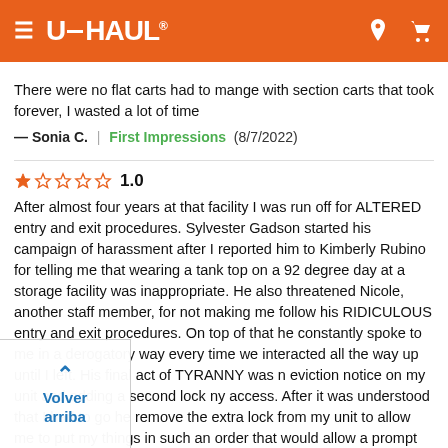U-HAUL
There were no flat carts had to mange with section carts that took forever, I wasted a lot of time
— Sonia C.  |  First Impressions  (8/7/2022)
1.0
After almost four years at that facility I was run off for ALTERED entry and exit procedures. Sylvester Gadson started his campaign of harassment after I reported him to Kimberly Rubino for telling me that wearing a tank top on a 92 degree day at a storage facility was inappropriate. He also threatened Nicole, another staff member, for not making me follow his RIDICULOUS entry and exit procedures. On top of that he constantly spoke to me in a derogatory way every time we interacted all the way up until I left. His final act of TYRANNY was n eviction notice on my unit and adding a second lock ny access. After it was understood that I had to go he remove the extra lock from my unit to allow me to put my things in such an order that would allow a prompt exit until the day I had to move. I've had brain surgery which left me with epilepsy. I also
Volver arriba